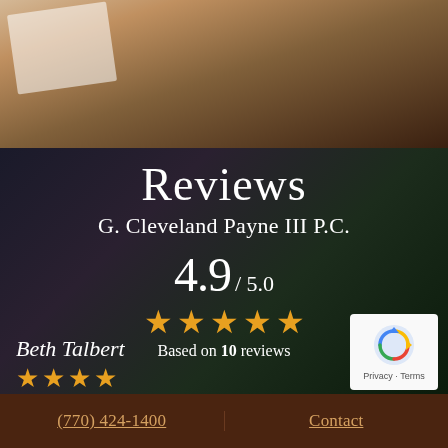[Figure (photo): Blurred background photo showing a wooden desk surface with papers and a dark bookshelf background]
Reviews
G. Cleveland Payne III P.C.
4.9 / 5.0
[Figure (other): 5 gold stars rating display]
Based on 10 reviews
Beth Talbert
[Figure (other): 4 gold stars reviewer rating]
[Figure (other): Google reCAPTCHA badge with Privacy and Terms links]
(770) 424-1400   Contact